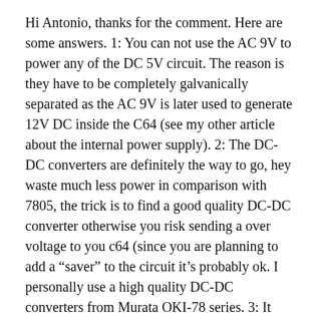Hi Antonio, thanks for the comment. Here are some answers. 1: You can not use the AC 9V to power any of the DC 5V circuit. The reason is they have to be completely galvanically separated as the AC 9V is later used to generate 12V DC inside the C64 (see my other article about the internal power supply). 2: The DC-DC converters are definitely the way to go, hey waste much less power in comparison with 7805, the trick is to find a good quality DC-DC converter otherwise you risk sending a over voltage to you c64 (since you are planning to add a “saver” to the circuit it’s probably ok. I personally use a high quality DC-DC converters from Murata OKI-78 series. 3: It should be ok to replace the non electrolytic capacitor with electrolytic (it’s probably a tantalum capacitor btw). Watch out when you use the DC-DC converter you may have to put some good quality capacitors that